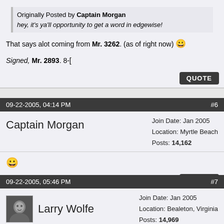Originally Posted by Captain Morgan
hey, it's ya'll opportunity to get a word in edgewise!
That says alot coming from Mr. 3262. (as of right now) 😀
Signed, Mr. 2893. 8-[
09-22-2005, 04:14 PM  #6
Captain Morgan
Join Date: Jan 2005
Location: Myrtle Beach
Posts: 14,162
😀
09-22-2005, 05:46 PM  #7
Larry Wolfe
Join Date: Jan 2005
Location: Bealeton, Virginia
Posts: 14,969
Dave, hop in the truck and head South brother! We'd be glad to have